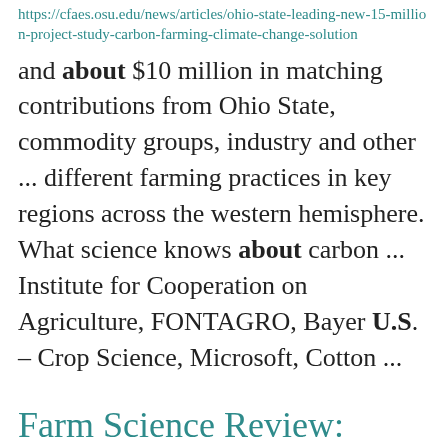https://cfaes.osu.edu/news/articles/ohio-state-leading-new-15-million-project-study-carbon-farming-climate-change-solution
and about $10 million in matching contributions from Ohio State, commodity groups, industry and other ... different farming practices in key regions across the western hemisphere. What science knows about carbon ... Institute for Cooperation on Agriculture, FONTAGRO, Bayer U.S. – Crop Science, Microsoft, Cotton ...
Farm Science Review: Specialty Crops Tent
https://cfaes.osu.edu/features/farm-science-review-specialty-crops-tent